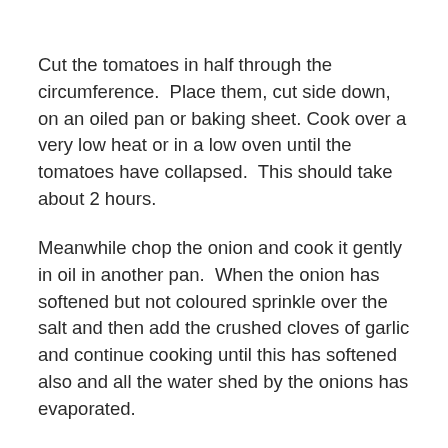Cut the tomatoes in half through the circumference.  Place them, cut side down, on an oiled pan or baking sheet.  Cook over a very low heat or in a low oven until the tomatoes have collapsed.  This should take about 2 hours.
Meanwhile chop the onion and cook it gently in oil in another pan.  When the onion has softened but not coloured sprinkle over the salt and then add the crushed cloves of garlic and continue cooking until this has softened also and all the water shed by the onions has evaporated.
Once the tomatoes have collapsed, they can be combined with the onions in one pan, using balsamic vinegar to deglaze the pan in which the tomatoes have cooked.  Sprinkle the sugar and a good grinding of black pepper